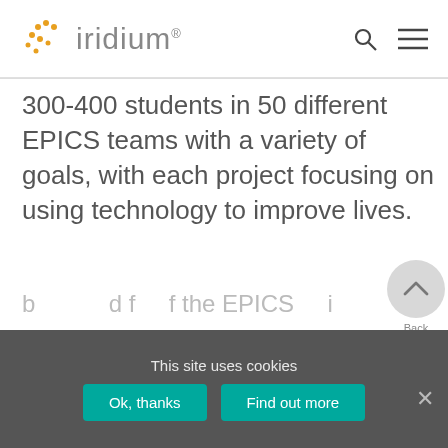iridium
300-400 students in 50 different EPICS teams with a variety of goals, with each project focusing on using technology to improve lives.
[Figure (screenshot): Back to Top button — circular grey button with upward chevron icon and label 'Back To Top']
This site uses cookies
Ok, thanks   Find out more